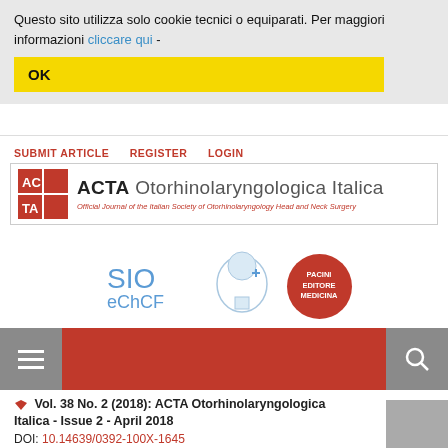Questo sito utilizza solo cookie tecnici o equiparati. Per maggiori informazioni cliccare qui -
OK
SUBMIT ARTICLE   REGISTER   LOGIN
[Figure (logo): ACTA Otorhinolaryngica Italica journal logo with red AC/TA square logo and full journal title]
[Figure (logo): SIO eChCF logo with head diagram and Pacini Editore Medicina red circle logo]
[Figure (other): Red navigation bar with hamburger menu icon and search icon]
Vol. 38 No. 2 (2018): ACTA Otorhinolaryngologica Italica - Issue 2 - April 2018
DOI: 10.14639/0392-100X-1645
Vestibology
Published: 2018-04-01